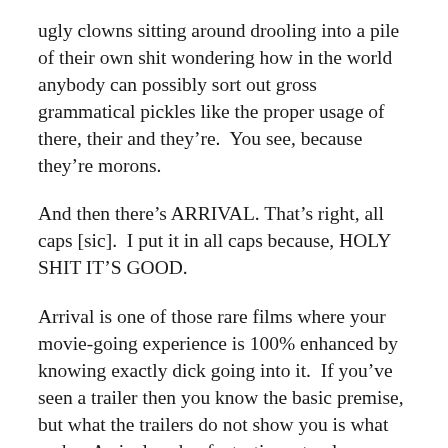ugly clowns sitting around drooling into a pile of their own shit wondering how in the world anybody can possibly sort out gross grammatical pickles like the proper usage of there, their and they're.  You see, because they're morons.
And then there's ARRIVAL. That's right, all caps [sic].  I put it in all caps because, HOLY SHIT IT'S GOOD.
Arrival is one of those rare films where your movie-going experience is 100% enhanced by knowing exactly dick going into it.  If you've seen a trailer then you know the basic premise, but what the trailers do not show you is what makes Arrival such a fantastic, not only Science Fiction film, but film, period. Kurt Vonnegut once wrote a very pointed and concise description of how Science